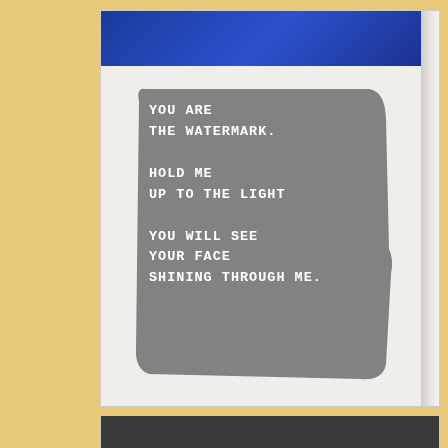[Figure (photo): Photo of an open handmade book with a blue cover. The right-hand page is white/cream watercolor paper with a gray painted shape containing handwritten white text: 'YOU ARE THE WATERMARK. HOLD ME UP TO THE LIGHT YOU WILL SEE YOUR FACE SHINING THROUGH ME.']
[Figure (photo): Partially visible bottom photo, showing a dark gray/black object at bottom of page.]